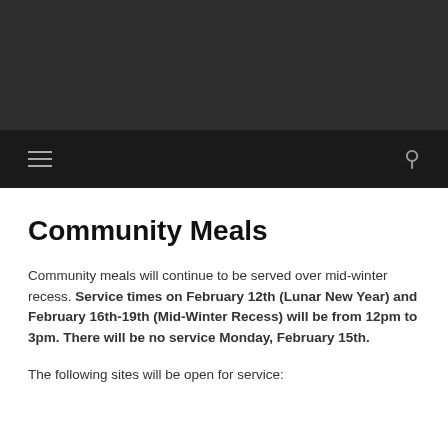Community Meals
Community meals will continue to be served over mid-winter recess. Service times on February 12th (Lunar New Year) and February 16th-19th (Mid-Winter Recess) will be from 12pm to 3pm. There will be no service Monday, February 15th.
The following sites will be open for service: